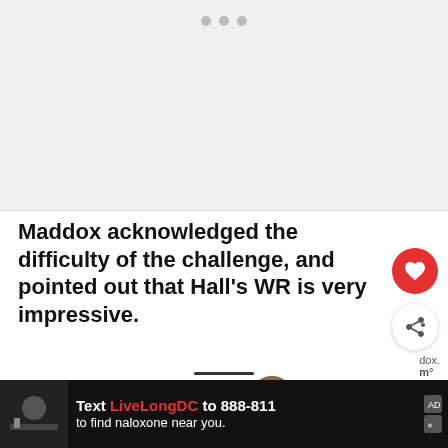[Figure (photo): Blank/loading image placeholder area at top of article page with three navigation dots]
Maddox acknowledged the difficulty of the challenge, and pointed out that Hall's WR is very impressive.
“Just some quality conditioning @eddiehallwsm did 30 reps in 50 sec it’s a
[Figure (photo): Advertisement bar: Text LiveLongDC to 888-811 to find naloxone near you.]